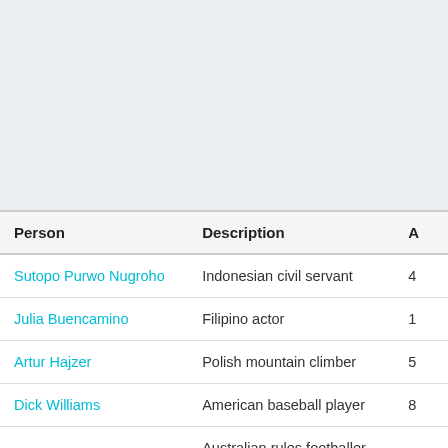| Person | Description | A |
| --- | --- | --- |
| Sutopo Purwo Nugroho | Indonesian civil servant | 4 |
| Julia Buencamino | Filipino actor | 1 |
| Artur Hajzer | Polish mountain climber | 5 |
| Dick Williams | American baseball player | 8 |
| Bob Rose | Australian rules footballer and coach | 7 |